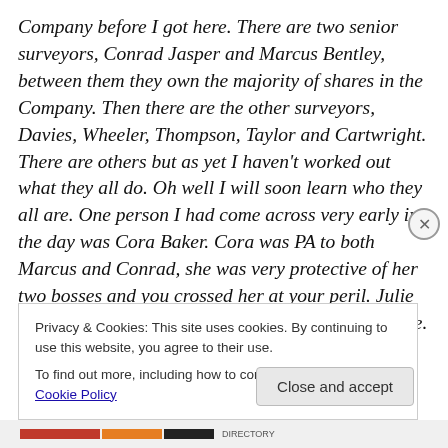Company before I got here. There are two senior surveyors, Conrad Jasper and Marcus Bentley, between them they own the majority of shares in the Company. Then there are the other surveyors, Davies, Wheeler, Thompson, Taylor and Cartwright. There are others but as yet I haven't worked out what they all do. Oh well I will soon learn who they all are. One person I had come across very early in the day was Cora Baker. Cora was PA to both Marcus and Conrad, she was very protective of her two bosses and you crossed her at your peril. Julie had told me Cora has been here all her working life.
Privacy & Cookies: This site uses cookies. By continuing to use this website, you agree to their use.
To find out more, including how to control cookies, see here: Cookie Policy
Close and accept